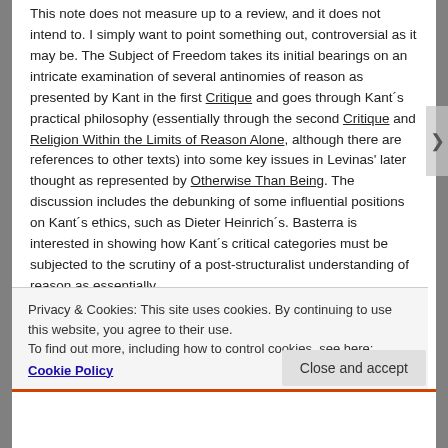This note does not measure up to a review, and it does not intend to. I simply want to point something out, controversial as it may be. The Subject of Freedom takes its initial bearings on an intricate examination of several antinomies of reason as presented by Kant in the first Critique and goes through Kant´s practical philosophy (essentially through the second Critique and Religion Within the Limits of Reason Alone, although there are references to other texts) into some key issues in Levinas' later thought as represented by Otherwise Than Being. The discussion includes the debunking of some influential positions on Kant´s ethics, such as Dieter Heinrich´s. Basterra is interested in showing how Kant´s critical categories must be subjected to the scrutiny of a post-structuralist understanding of reason as essentially
Privacy & Cookies: This site uses cookies. By continuing to use this website, you agree to their use.
To find out more, including how to control cookies, see here: Cookie Policy